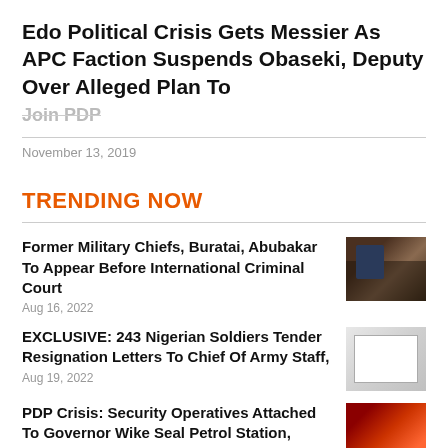Edo Political Crisis Gets Messier As APC Faction Suspends Obaseki, Deputy Over Alleged Plan To Join PDP
November 13, 2019
TRENDING NOW
Former Military Chiefs, Buratai, Abubakar To Appear Before International Criminal Court
Aug 16, 2022
EXCLUSIVE: 243 Nigerian Soldiers Tender Resignation Letters To Chief Of Army Staff,
Aug 19, 2022
PDP Crisis: Security Operatives Attached To Governor Wike Seal Petrol Station, Hotels
Aug 19, 2022